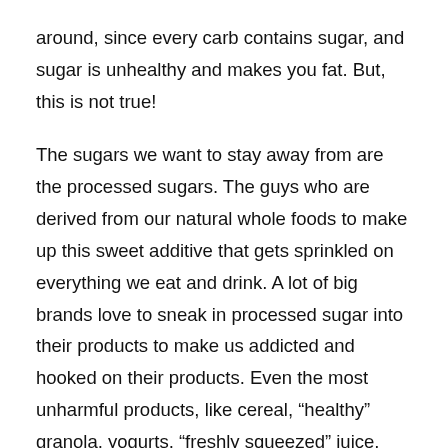around, since every carb contains sugar, and sugar is unhealthy and makes you fat. But, this is not true!
The sugars we want to stay away from are the processed sugars. The guys who are derived from our natural whole foods to make up this sweet additive that gets sprinkled on everything we eat and drink. A lot of big brands love to sneak in processed sugar into their products to make us addicted and hooked on their products. Even the most unharmful products, like cereal, “healthy” granola, yogurts, “freshly squeezed” juice, ketchup, whole grain bread, just to name a few of all the items sugar is sneaked into. Yes, we actually live in a world that cruel.